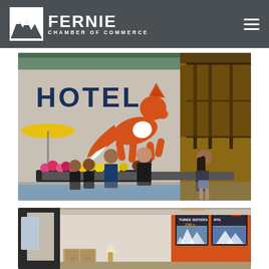FERNIE CHAMBER OF COMMERCE
[Figure (photo): Exterior of a hotel with a large orange fox logo on the building wall. The word HOTEL is painted in dark blue letters. A group of people and a dog are sitting on a low wall in front of the hotel entrance. Yellow and pink flowers are visible in the foreground, and a yellow umbrella is on the left side.]
[Figure (photo): Interior of a hotel room or lobby with orange accent wall and framed vintage ski mountain posters. The room has white/cream walls and a lamp is visible.]